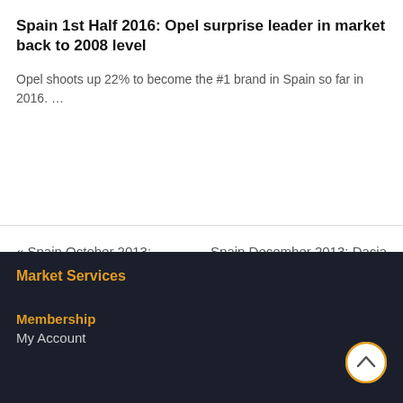Spain 1st Half 2016: Opel surprise leader in market back to 2008 level
Opel shoots up 22% to become the #1 brand in Spain so far in 2016. …
« Spain October 2013: Renault Clio tops market up 35%
Spain December 2013: Dacia Sandero leads for third time this year »
Market Services
Membership
My Account